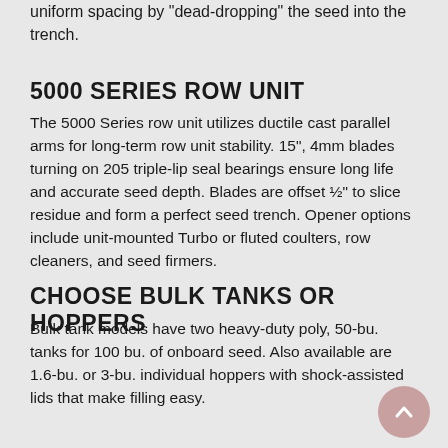uniform spacing by "dead-dropping" the seed into the trench.
5000 SERIES ROW UNIT
The 5000 Series row unit utilizes ductile cast parallel arms for long-term row unit stability. 15", 4mm blades turning on 205 triple-lip seal bearings ensure long life and accurate seed depth. Blades are offset ½" to slice residue and form a perfect seed trench. Opener options include unit-mounted Turbo or fluted coulters, row cleaners, and seed firmers.
CHOOSE BULK TANKS OR HOPPERS
Bulk tank models have two heavy-duty poly, 50-bu. tanks for 100 bu. of onboard seed. Also available are 1.6-bu. or 3-bu. individual hoppers with shock-assisted lids that make filling easy.